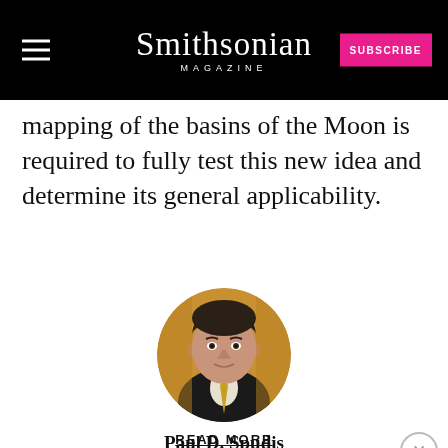Smithsonian MAGAZINE
mapping of the basins of the Moon is required to fully test this new idea and determine its general applicability.
[Figure (photo): Circular headshot portrait of Paul D. Spudis, a man in a dark suit with a yellow tie, against a golden/yellow background.]
Paul D. Spudis
READ MORE
Paul D. [scientist at the ... Texas, and a prolific author on the subject of the moon. His
[Figure (screenshot): Disney Bundle advertisement: hulu, Disney+, ESPN+ logos with 'GET THE DISNEY BUNDLE' call to action button.]